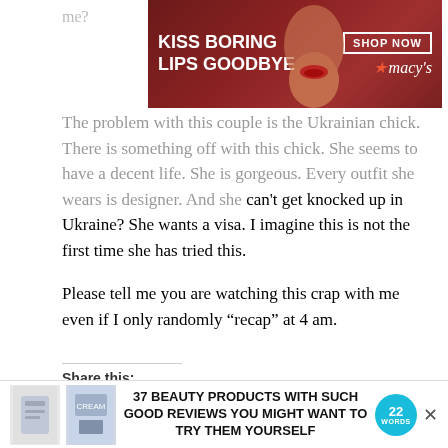me?
[Figure (photo): Macy's advertisement banner: 'Kiss Boring Lips Goodbye' with a woman wearing red lipstick, Shop Now button, and Macy's star logo]
The problem with this couple is the Ukrainian chick. There is something off with this chick. She seems to have a decent life. She is gorgeous. Every outfit she wears is designer. And she can't get knocked up in Ukraine? She wants a visa. I imagine this is not the first time she has tried this.
Please tell me you are watching this crap with me even if I only randomly “recap” at 4 am.
Share this:
Tweet
Related
[Figure (photo): Bottom advertisement: '37 Beauty Products With Such Good Reviews You Might Want To Try Them Yourself' with product images and 22 Words badge]